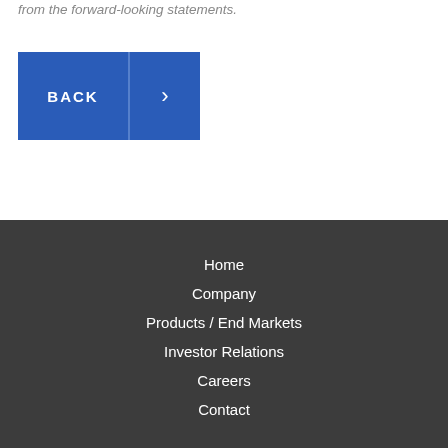from the forward-looking statements.
[Figure (other): Navigation buttons: BACK button in blue with a right arrow button in blue next to it]
Home
Company
Products / End Markets
Investor Relations
Careers
Contact